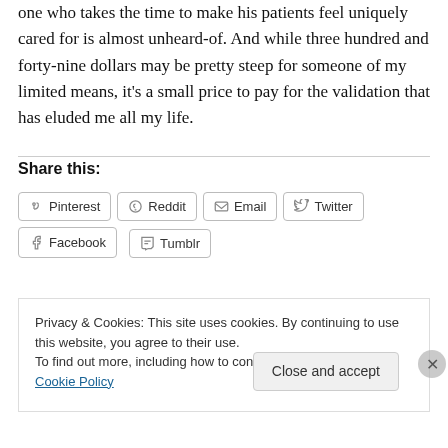one who takes the time to make his patients feel uniquely cared for is almost unheard-of. And while three hundred and forty-nine dollars may be pretty steep for someone of my limited means, it's a small price to pay for the validation that has eluded me all my life.
Share this:
Pinterest  Reddit  Email  Twitter  Facebook  Tumblr
Privacy & Cookies: This site uses cookies. By continuing to use this website, you agree to their use. To find out more, including how to control cookies, see here: Cookie Policy